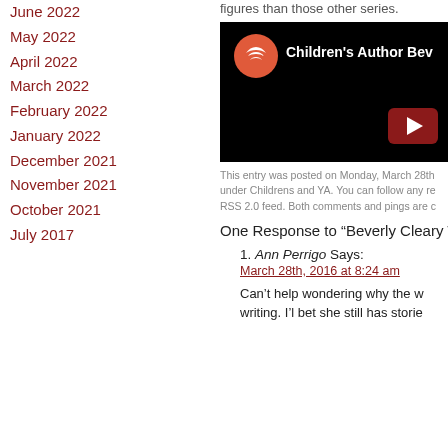June 2022
May 2022
April 2022
March 2022
February 2022
January 2022
December 2021
November 2021
October 2021
July 2017
figures than those other series.
[Figure (screenshot): YouTube video thumbnail showing Children's Author Beverly Cleary with a play button]
This entry was posted on Monday, March 28th under Childrens and YA. You can follow any re RSS 2.0 feed. Both comments and pings are c
One Response to “Beverly Cleary Tu
Ann Perrigo Says: March 28th, 2016 at 8:24 am
Can’t help wondering why the w writing. I’l bet she still has storie